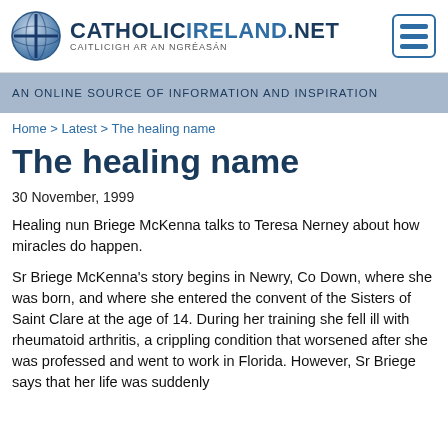CATHOLICIRELAND.NET — CAITLICIGH AR AN NGRÉASÁN
AN ONLINE SOURCE OF INFORMATION AND INSPIRATION
Home > Latest > The healing name
The healing name
30 November, 1999
Healing nun Briege McKenna talks to Teresa Nerney about how miracles do happen.
Sr Briege McKenna's story begins in Newry, Co Down, where she was born, and where she entered the convent of the Sisters of Saint Clare at the age of 14. During her training she fell ill with rheumatoid arthritis, a crippling condition that worsened after she was professed and went to work in Florida. However, Sr Briege says that her life was suddenly changed about 1970 when...